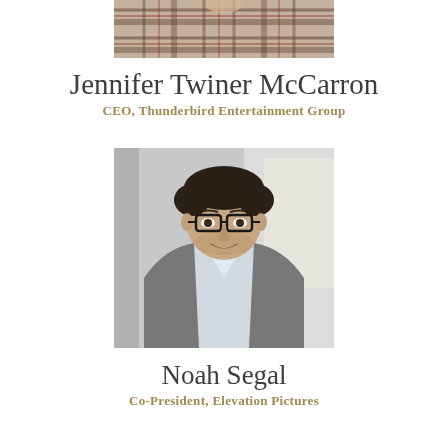[Figure (photo): Partial photo of Jennifer Twiner McCarron, cropped showing plaid clothing, top portion only]
Jennifer Twiner McCarron
CEO, Thunderbird Entertainment Group
[Figure (photo): Headshot photo of Noah Segal, a man with curly dark hair, glasses, stubble, wearing a grey blazer and light blue shirt, smiling, blurred indoor background]
Noah Segal
Co-President, Elevation Pictures